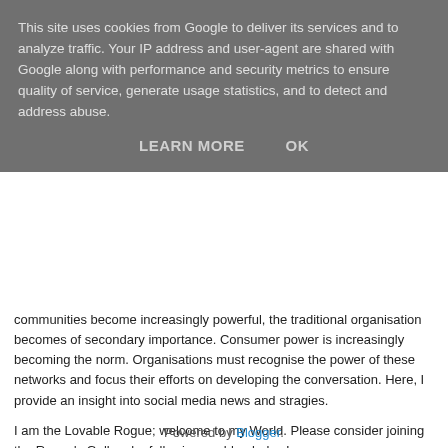This site uses cookies from Google to deliver its services and to analyze traffic. Your IP address and user-agent are shared with Google along with performance and security metrics to ensure quality of service, generate usage statistics, and to detect and address abuse.
LEARN MORE   OK
communities become increasingly powerful, the traditional organisation becomes of secondary importance. Consumer power is increasingly becoming the norm. Organisations must recognise the power of these networks and focus their efforts on developing the conversation. Here, I provide an insight into social media news and stragies.
I am the Lovable Rogue; welcome to my World. Please consider joining the Rogue's Gallery by following my blog below!
TLR
View my complete profile
Powered by Blogger.